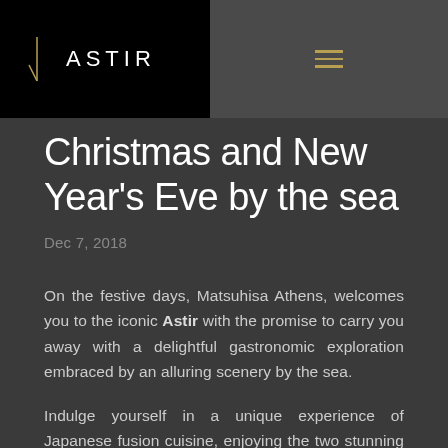ASTIR
Christmas and New Year's Eve by the sea
Dec 7, 2018
On the festive days, Matsuhisa Athens, welcomes you to the iconic Astir with the promise to carry you away with a delightful gastronomic exploration embraced by an alluring scenery by the sea.
Indulge yourself in a unique experience of Japanese fusion cuisine, enjoying the two stunning seven-course menus prepared by